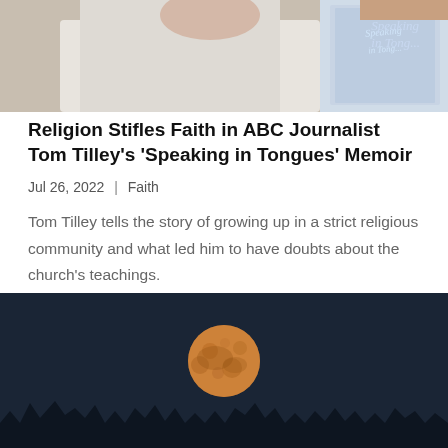[Figure (photo): Partial photo of a person in a white shirt holding or near a book titled 'Speaking in Tongues'. Cropped at top of page.]
Religion Stifles Faith in ABC Journalist Tom Tilley’s ‘Speaking in Tongues’ Memoir
Jul 26, 2022 | Faith
Tom Tilley tells the story of growing up in a strict religious community and what led him to have doubts about the church’s teachings.
read more
[Figure (photo): Night sky photo showing a large orange-red full moon centered against a dark navy blue sky, with a dark silhouetted treeline or landscape at the bottom.]